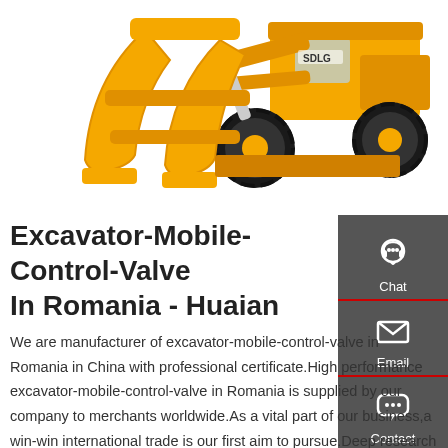[Figure (photo): Yellow industrial wheel loader with large grapple/claw attachment, SDLG brand, white background]
Excavator-Mobile-Control-Valve In Romania - Huaian
[Figure (infographic): Dark gray sidebar with three items: Chat (headset icon), Email (envelope icon), Contact (speech bubble icon), separated by red lines]
We are manufacturer of excavator-mobile-control-valve in Romania in China with professional certificate.High performance excavator-mobile-control-valve in Romania is supplied by our company to merchants worldwide.As a vital part of our business,a win-win international trade is our first aim to pursue.Deep research has been settled to meet the